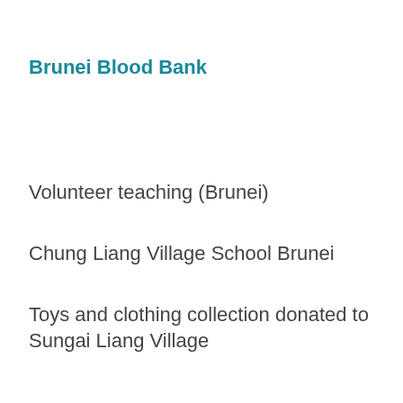Brunei Blood Bank
Volunteer teaching (Brunei)
Chung Liang Village School Brunei
Toys and clothing collection donated to Sungai Liang Village